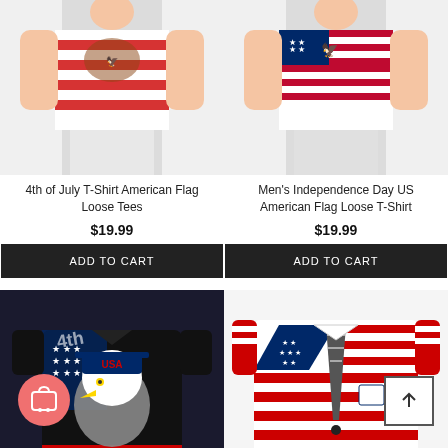[Figure (photo): 4th of July T-Shirt American Flag Loose Tees product photo - man wearing American flag themed shirt with eagle design]
[Figure (photo): Men's Independence Day US American Flag Loose T-Shirt product photo - man wearing white shirt with American flag design]
4th of July T-Shirt American Flag Loose Tees
$19.99
ADD TO CART
Men's Independence Day US American Flag Loose T-Shirt
$19.99
ADD TO CART
[Figure (photo): American Flag Eagle Loose T-Shirt product photo - shirt with bald eagle wearing USA cap surrounded by stars and stripes]
[Figure (photo): Funny Men's American Flag Tuxedo T-Shirt product photo - shirt designed to look like a suit with American flag pattern]
American Flag Eagle Loose T-Shirt
Funny Men's American Flag Tuxedo T-Shirt